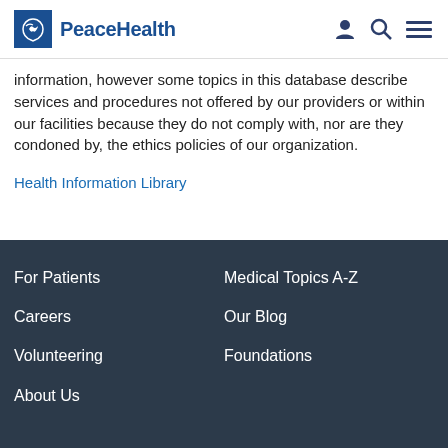PeaceHealth
information, however some topics in this database describe services and procedures not offered by our providers or within our facilities because they do not comply with, nor are they condoned by, the ethics policies of our organization.
Health Information Library
For Patients | Medical Topics A-Z | Careers | Our Blog | Volunteering | Foundations | About Us